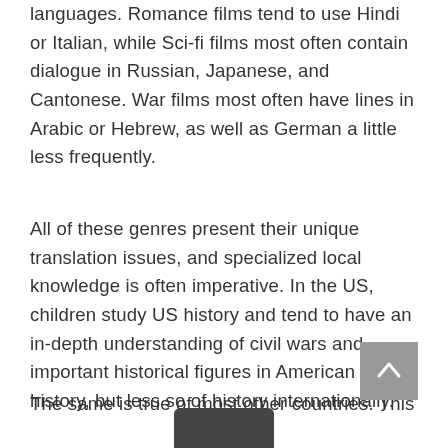languages. Romance films tend to use Hindi or Italian, while Sci-fi films most often contain dialogue in Russian, Japanese, and Cantonese. War films most often have lines in Arabic or Hebrew, as well as German a little less frequently.
All of these genres present their unique translation issues, and specialized local knowledge is often imperative. In the US, children study US history and tend to have an in-depth understanding of civil wars and important historical figures in American history, but less so of history internationally.
The same is true of most other countries. This [obscured] en trickier with